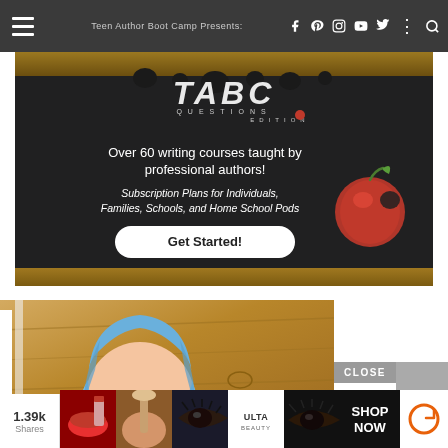Teen Author Boot Camp Presents:
[Figure (illustration): TABC (Teen Author Boot Camp) advertisement banner on dark background. Shows TABC logo, text about writing courses, subscription plans, and a Get Started button with an apple graphic.]
Over 60 writing courses taught by professional authors!
Subscription Plans for Individuals, Families, Schools, and Home School Pods
Get Started!
[Figure (photo): Photo of a young woman with blue hair against a wooden background, partially cropped.]
1.39k Shares
[Figure (infographic): Bottom advertisement strip showing makeup/beauty product thumbnails, ULTA logo, eye makeup photos, SHOP NOW text, and a share/replay icon.]
CLOSE